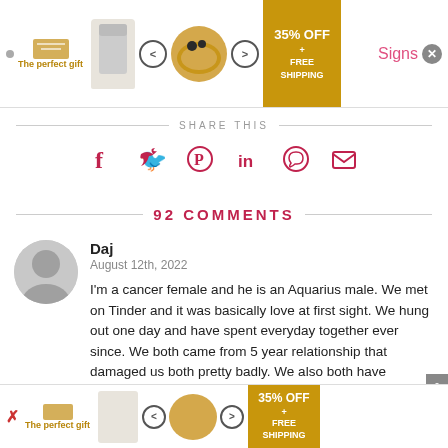[Figure (other): Top advertisement banner: The perfect gift - 35% OFF + FREE SHIPPING]
SHARE THIS
[Figure (other): Social share icons: Facebook, Twitter, Pinterest, LinkedIn, WhatsApp, Email]
92 COMMENTS
Daj
August 12th, 2022

I'm a cancer female and he is an Aquarius male. We met on Tinder and it was basically love at first sight. We hung out one day and have spent everyday together ever since. We both came from 5 year relationship that damaged us both pretty badly. We also both have children from our past
[Figure (other): Bottom advertisement banner: The perfect gift - 35% OFF + FREE SHIPPING]